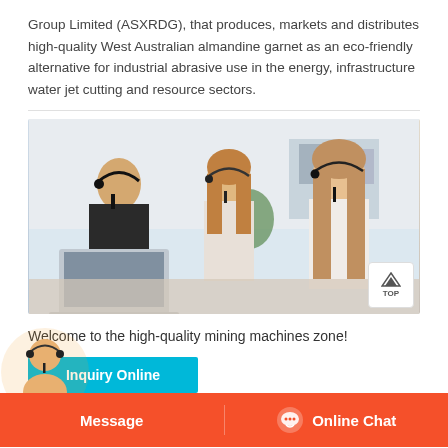Group Limited (ASXRDG), that produces, markets and distributes high-quality West Australian almandine garnet as an eco-friendly alternative for industrial abrasive use in the energy, infrastructure water jet cutting and resource sectors.
[Figure (photo): Three customer service representatives wearing headsets seated at desks with laptops in a bright office environment.]
Welcome to the high-quality mining machines zone!
[Figure (infographic): Inquiry Online button in cyan/teal color, an avatar of a customer service agent at bottom left, Message and Online Chat buttons in an orange bottom bar.]